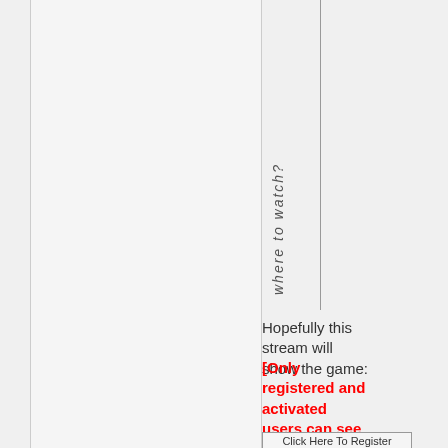[Figure (other): Left panel showing a gray bordered rectangle, likely a video or image embed area]
where to watch?
Hopefully this stream will show the game:
[Only registered and activated users can see links.
Click Here To Register